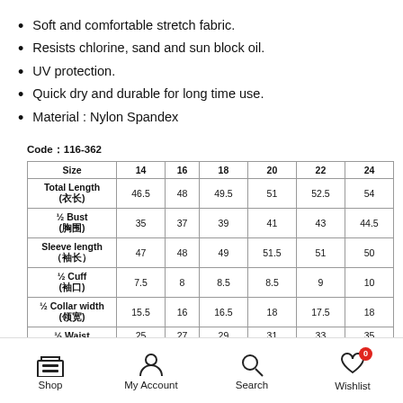Soft and comfortable stretch fabric.
Resists chlorine, sand and sun block oil.
UV protection.
Quick dry and durable for long time use.
Material : Nylon Spandex
Code: 116-362
| Size | 14 | 16 | 18 | 20 | 22 | 24 |
| --- | --- | --- | --- | --- | --- | --- |
| Total Length (衣长) | 46.5 | 48 | 49.5 | 51 | 52.5 | 54 |
| ½ Bust (胸围) | 35 | 37 | 39 | 41 | 43 | 44.5 |
| Sleeve length (袖长) | 47 | 48 | 49 | 51.5 | 51 | 50 |
| ½ Cuff (袖口) | 7.5 | 8 | 8.5 | 8.5 | 9 | 10 |
| ½ Collar width (领宽) | 15.5 | 16 | 16.5 | 18 | 17.5 | 18 |
| ½ Waist | 25 | 27 | 29 | 31 | 33 | 35 |
Shop | My Account | Search | Wishlist